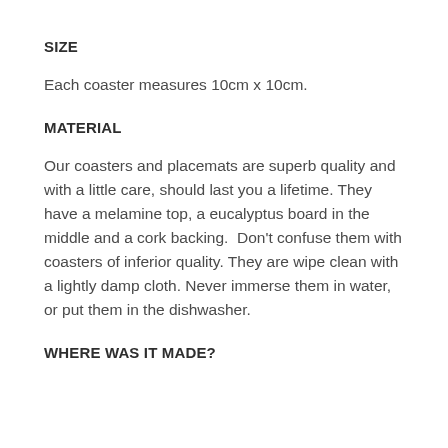SIZE
Each coaster measures 10cm x 10cm.
MATERIAL
Our coasters and placemats are superb quality and with a little care, should last you a lifetime. They have a melamine top, a eucalyptus board in the middle and a cork backing.  Don't confuse them with coasters of inferior quality. They are wipe clean with a lightly damp cloth. Never immerse them in water, or put them in the dishwasher.
WHERE WAS IT MADE?